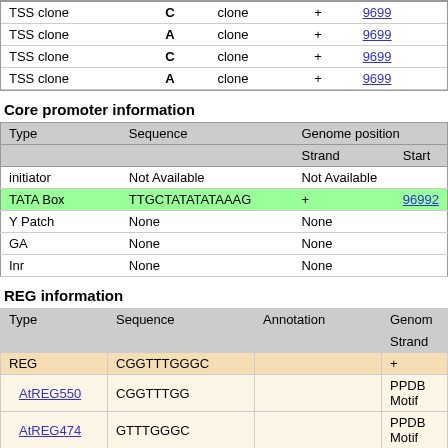| Type | nt | Sequence | Strand | Link |
| --- | --- | --- | --- | --- |
| TSS clone | C | clone | + | 9699 |
| TSS clone | A | clone | + | 9699 |
| TSS clone | C | clone | + | 9699 |
| TSS clone | A | clone | + | 9699 |
Core promoter information
| Type | Sequence | Genome position (Strand) | Genome position (Start) |
| --- | --- | --- | --- |
| initiator | Not Available | Not Available |  |
| TATA Box | TTGCTATATATAAAG | + | 96992 |
| Y Patch | None | None |  |
| GA | None | None |  |
| Inr | None | None |  |
REG information
| Type | Sequence | Annotation | Genome position (Strand) |
| --- | --- | --- | --- |
| REG | CGGTTTGGGC |  | + |
| AtREG550 | CGGTTTGG |  | PPDB Motif |
| AtREG474 | GTTTGGGC |  | PPDB Motif |
| REG | GCCACGTAG |  | + |
| AtREG413 | GCCACGTA |  | PPDB Motif |